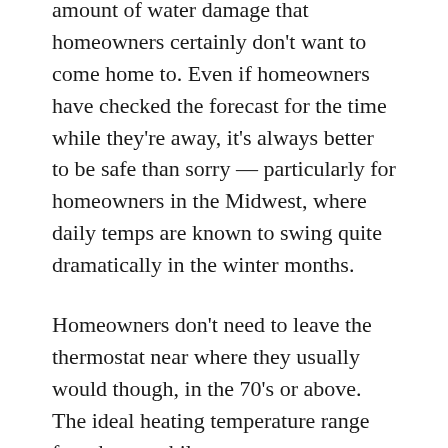amount of water damage that homeowners certainly don't want to come home to. Even if homeowners have checked the forecast for the time while they're away, it's always better to be safe than sorry — particularly for homeowners in the Midwest, where daily temps are known to swing quite dramatically in the winter months.
Homeowners don't need to leave the thermostat near where they usually would though, in the 70's or above. The ideal heating temperature range for a home while occupants are away around 50–55 degrees. This leaves enough heat to stave off freezing temperatures, but not so much to break the bank. Additionally, opening the kitchen cabinets below the sink will help